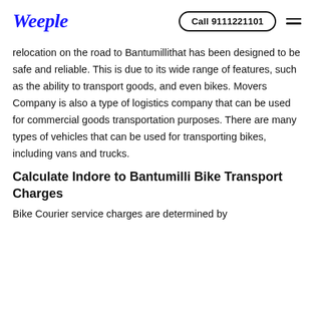Weeple | Call 9111221101
relocation on the road to Bantumillithat has been designed to be safe and reliable. This is due to its wide range of features, such as the ability to transport goods, and even bikes. Movers Company is also a type of logistics company that can be used for commercial goods transportation purposes. There are many types of vehicles that can be used for transporting bikes, including vans and trucks.
Calculate Indore to Bantumilli Bike Transport Charges
Bike Courier service charges are determined by